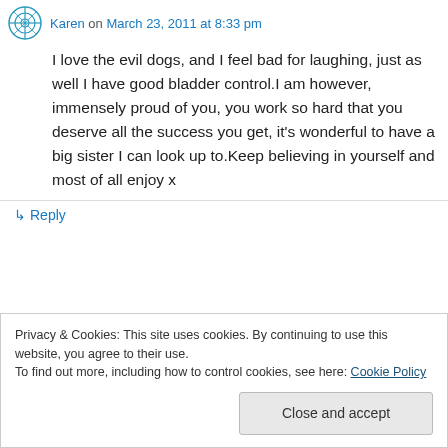Karen on March 23, 2011 at 8:33 pm
I love the evil dogs, and I feel bad for laughing, just as well I have good bladder control.I am however, immensely proud of you, you work so hard that you deserve all the success you get, it's wonderful to have a big sister I can look up to.Keep believing in yourself and most of all enjoy x
↳ Reply
Privacy & Cookies: This site uses cookies. By continuing to use this website, you agree to their use.
To find out more, including how to control cookies, see here: Cookie Policy
Close and accept